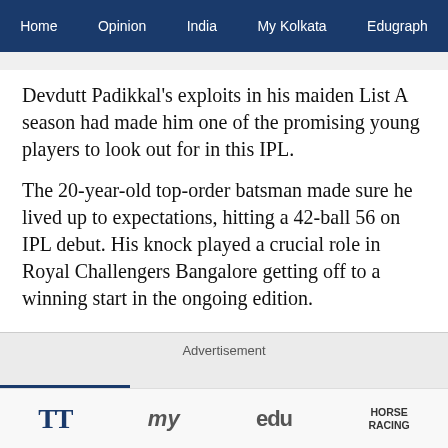Home   Opinion   India   My Kolkata   Edugraph
Devdutt Padikkal's exploits in his maiden List A season had made him one of the promising young players to look out for in this IPL.
The 20-year-old top-order batsman made sure he lived up to expectations, hitting a 42-ball 56 on IPL debut. His knock played a crucial role in Royal Challengers Bangalore getting off to a winning start in the ongoing edition.
Advertisement
TT   my   edu   HORSE RACING